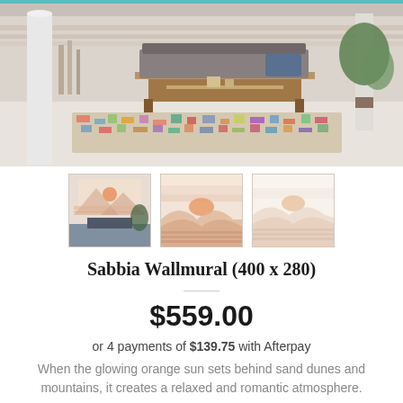[Figure (photo): Bedroom interior with a low wooden bed frame, gray bedding, colorful patterned rug on light floor, white columns, and plants in background]
[Figure (photo): Thumbnail 1: Room scene with Sabbia wallmural showing orange sun over sand dunes and mountains]
[Figure (photo): Thumbnail 2: Close-up of Sabbia wallmural with peach/pink desert sunset design]
[Figure (photo): Thumbnail 3: Lighter version of Sabbia wallmural desert sunset]
Sabbia Wallmural (400 x 280)
$559.00
or 4 payments of $139.75 with Afterpay
When the glowing orange sun sets behind sand dunes and mountains, it creates a relaxed and romantic atmosphere.